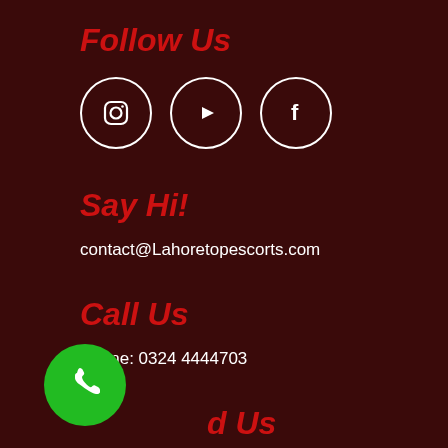Follow Us
[Figure (illustration): Three social media icons in white circles: Instagram, YouTube, Facebook]
Say Hi!
contact@Lahoretopescorts.com
Call Us
Phone: 0324 4444703
d Us
DHA LAHORE
[Figure (illustration): Green circular phone call button]